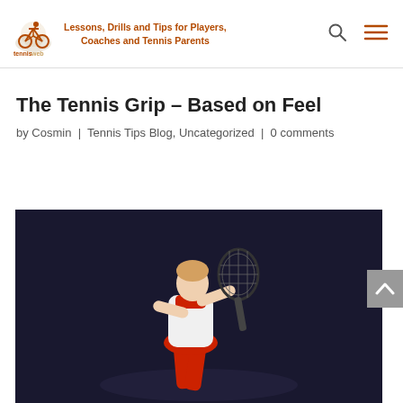Lessons, Drills and Tips for Players, Coaches and Tennis Parents
The Tennis Grip – Based on Feel
by Cosmin | Tennis Tips Blog, Uncategorized | 0 comments
[Figure (photo): Young female tennis player holding a racket in a playing stance, wearing a red and white outfit against a dark background]